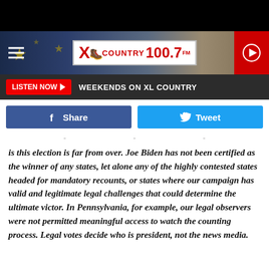[Figure (screenshot): XL Country 100.7 FM radio station website header banner with logo, hamburger menu, and play button]
LISTEN NOW ▶  WEEKENDS ON XL COUNTRY
f Share   Tweet
is this election is far from over. Joe Biden has not been certified as the winner of any states, let alone any of the highly contested states headed for mandatory recounts, or states where our campaign has valid and legitimate legal challenges that could determine the ultimate victor. In Pennsylvania, for example, our legal observers were not permitted meaningful access to watch the counting process. Legal votes decide who is president, not the news media.